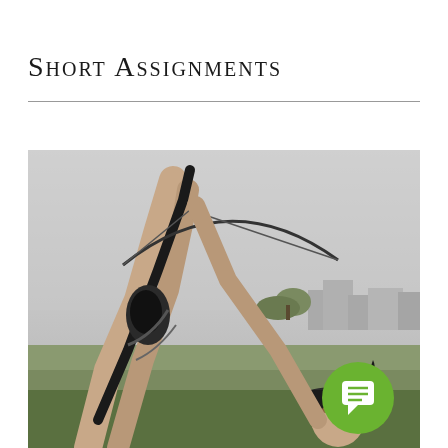Short Assignments
[Figure (photo): Black and white photograph of a person aiming a crossbow upward toward the sky, outdoors with a landscape in the background including trees and buildings in the distance. A green speech bubble / chat icon is overlaid in the bottom-right corner of the image.]